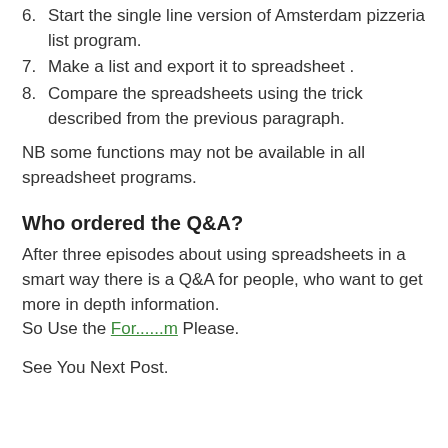6. Start the single line version of Amsterdam pizzeria list program.
7. Make a list and export it to spreadsheet .
8. Compare the spreadsheets using the trick described from the previous paragraph.
NB some functions may not be available in all spreadsheet programs.
Who ordered the Q&A?
After three episodes about using spreadsheets in a smart way there is a Q&A for people, who want to get more in depth information.
So Use the For......m Please.
See You Next Post.